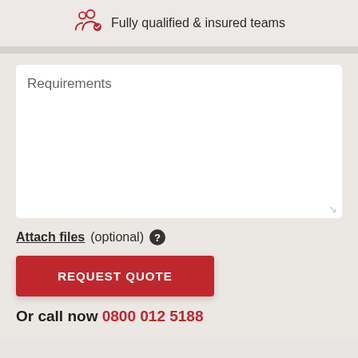Fully qualified & insured teams
Requirements
Attach files (optional) ?
REQUEST QUOTE
Or call now 0800 012 5188